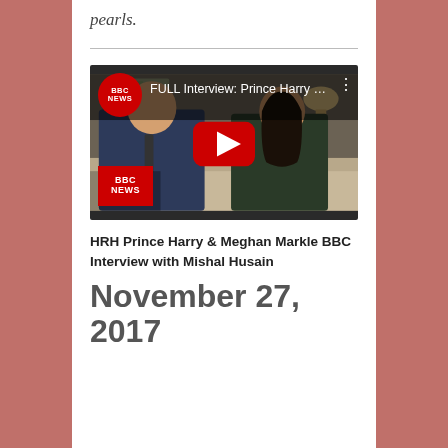pearls.
[Figure (screenshot): YouTube video thumbnail showing BBC News full interview with Prince Harry and Meghan Markle, with a red play button in the center and BBC NEWS logo overlays]
HRH Prince Harry & Meghan Markle BBC Interview with Mishal Husain
November 27, 2017